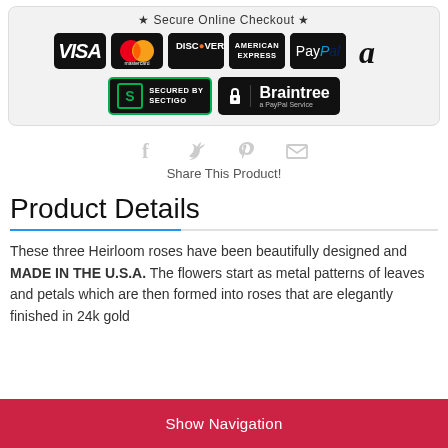[Figure (logo): Secure Online Checkout badge area with payment logos: VISA, Mastercard, Discover, American Express, PayPal, Amazon, Sectigo SSL badge, Braintree PayPal badge]
[Figure (infographic): Social sharing icons: Facebook, Twitter, Pinterest, Email]
Share This Product!
Product Details
These three Heirloom roses have been beautifully designed and MADE IN THE U.S.A. The flowers start as metal patterns of leaves and petals which are then formed into roses that are elegantly finished in 24k gold
Show Navigation